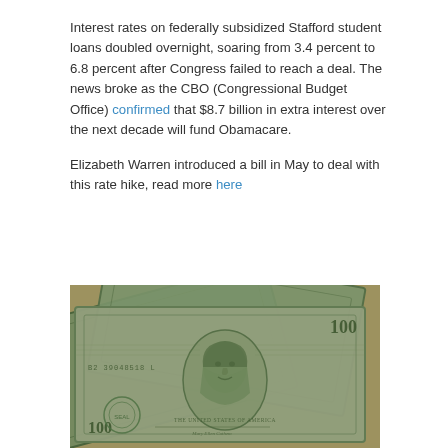Interest rates on federally subsidized Stafford student loans doubled overnight, soaring from 3.4 percent to 6.8 percent after Congress failed to reach a deal. The news broke as the CBO (Congressional Budget Office) confirmed that $8.7 billion in extra interest over the next decade will fund Obamacare.

Elizabeth Warren introduced a bill in May to deal with this rate hike, read more here
[Figure (photo): Close-up photo of US $100 dollar bills fanned out showing Benjamin Franklin's portrait and serial numbers]